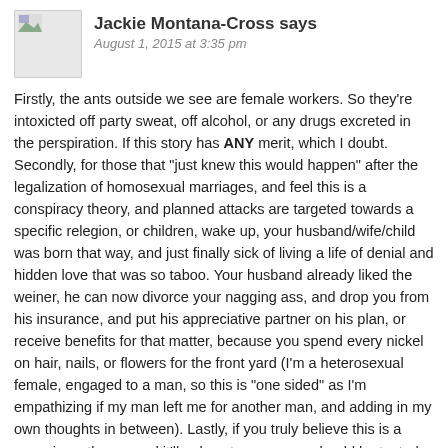Jackie Montana-Cross says
August 1, 2015 at 3:35 pm
Firstly, the ants outside we see are female workers. So they're intoxicted off party sweat, off alcohol, or any drugs excreted in the perspiration. If this story has ANY merit, which I doubt. Secondly, for those that "just knew this would happen" after the legalization of homosexual marriages, and feel this is a conspiracy theory, and planned attacks are targeted towards a specific relegion, or children, wake up, your husband/wife/child was born that way, and just finally sick of living a life of denial and hidden love that was so taboo. Your husband already liked the weiner, he can now divorce your nagging ass, and drop you from his insurance, and put his appreciative partner on his plan, or receive benefits for that matter, because you spend every nickel on hair, nails, or flowers for the front yard (I'm a heterosexual female, engaged to a man, so this is "one sided" as I'm empathizing if my man left me for another man, and adding in my own thoughts in between). Lastly, if you truly believe this is a conspiracy theory, and it'll only get worse; you should be tested for paranoid schizophrenia, or stop the closet drug abuse. There's only One that should be